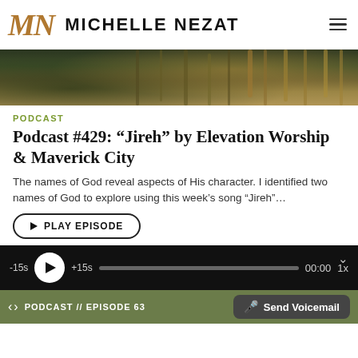MN MICHELLE NEZAT
[Figure (photo): Dark nature/grass background photo, muted green and golden tones]
PODCAST
Podcast #429: “Jireh” by Elevation Worship & Maverick City
The names of God reveal aspects of His character. I identified two names of God to explore using this week’s song “Jireh”…
PLAY EPISODE
-15s  +15s  00:00  1x
PODCAST // EPISODE 63  Send Voicemail